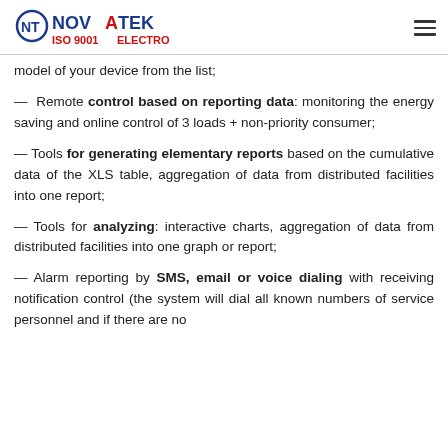NOVATEK ELECTRO ISO 9001
model of your device from the list;
— Remote control based on reporting data: monitoring the energy saving and online control of 3 loads + non-priority consumer;
— Tools for generating elementary reports based on the cumulative data of the XLS table, aggregation of data from distributed facilities into one report;
— Tools for analyzing: interactive charts, aggregation of data from distributed facilities into one graph or report;
— Alarm reporting by SMS, email or voice dialing with receiving notification control (the system will dial all known numbers of service personnel and if there are no